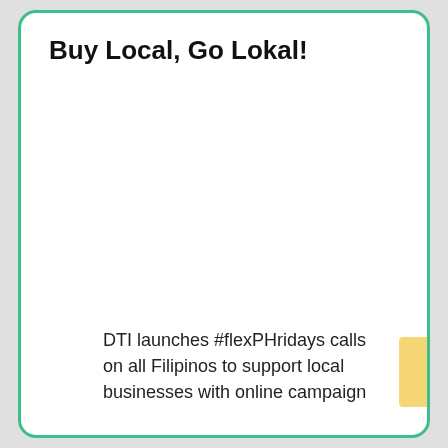Buy Local, Go Lokal!
DTI launches #flexPHridays calls on all Filipinos to support local businesses with online campaign